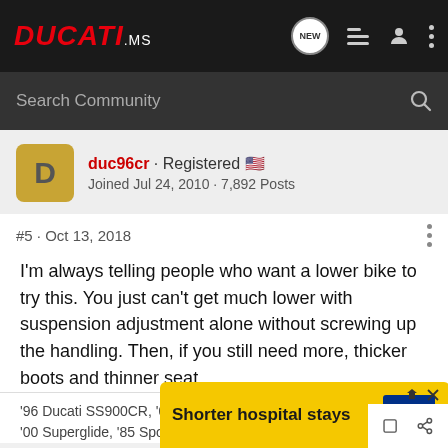DUCATI.ms — Navigation bar with search
duc96cr · Registered
Joined Jul 24, 2010 · 7,892 Posts
#5 · Oct 13, 2018
I'm always telling people who want a lower bike to try this. You just can't get much lower with suspension adjustment alone without screwing up the handling. Then, if you still need more, thicker boots and thinner seat.
'96 Ducati SS900CR, '07 S4RS, '06 Busa, '77 Bonny,
'00 Superglide, '85 Sportster, '79 SR500